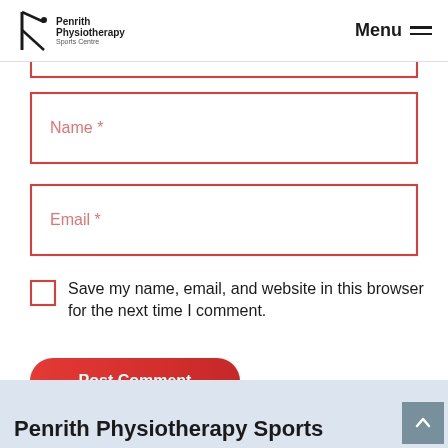Penrith Physiotherapy Sports Centre — Menu
[Figure (screenshot): Partially visible form input field (cut off at top)]
Name *
Email *
Save my name, email, and website in this browser for the next time I comment.
Post Comment
Penrith Physiotherapy Sports